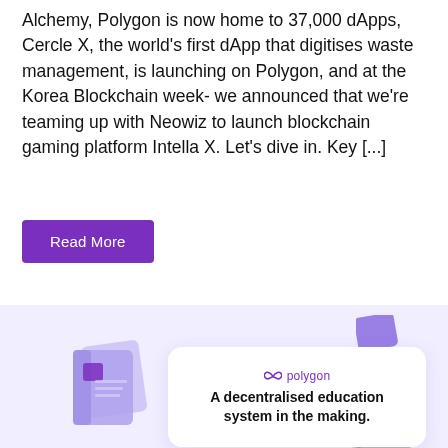Alchemy, Polygon is now home to 37,000 dApps, Cercle X, the world's first dApp that digitises waste management, is launching on Polygon, and at the Korea Blockchain week- we announced that we're teaming up with Neowiz to launch blockchain gaming platform Intella X. Let's dive in. Key [...]
Read More
[Figure (illustration): A light purple/lavender background with 3D illustrated floating purple book objects and a white card in the center. The card shows the Polygon logo and text 'A decentralised education system in the making.']